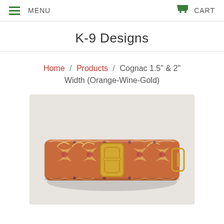MENU   CART
K-9 Designs
Home / Products / Cognac 1.5" & 2" Width (Orange-Wine-Gold)
[Figure (photo): A decorative dog collar featuring an orange/wine/gold jacquard ribbon pattern with a gold metal buckle, displayed on a light background.]